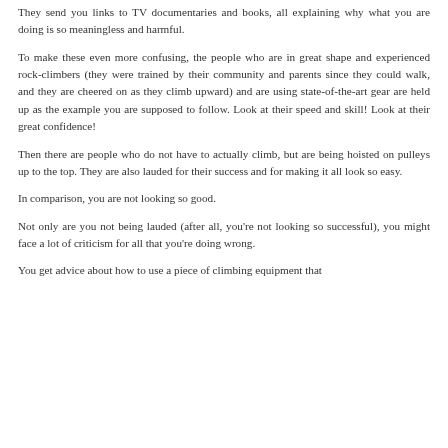They send you links to TV documentaries and books, all explaining why what you are doing is so meaningless and harmful.
To make these even more confusing, the people who are in great shape and experienced rock-climbers (they were trained by their community and parents since they could walk, and they are cheered on as they climb upward) and are using state-of-the-art gear are held up as the example you are supposed to follow. Look at their speed and skill! Look at their great confidence!
Then there are people who do not have to actually climb, but are being hoisted on pulleys up to the top. They are also lauded for their success and for making it all look so easy.
In comparison, you are not looking so good.
Not only are you not being lauded (after all, you're not looking so successful), you might face a lot of criticism for all that you're doing wrong.
You get advice about how to use a piece of climbing equipment that